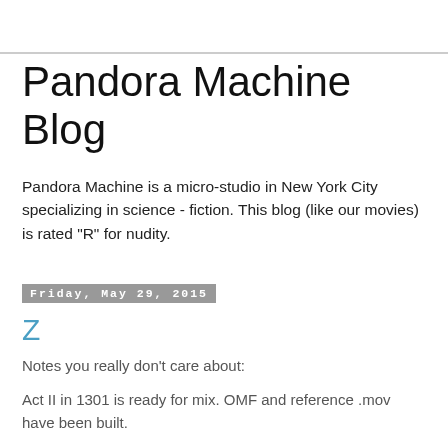Pandora Machine Blog
Pandora Machine is a micro-studio in New York City specializing in science - fiction. This blog (like our movies) is rated "R" for nudity.
Friday, May 29, 2015
Z
Notes you really don't care about:
Act II in 1301 is ready for mix. OMF and reference .mov have been built.
In 1401:
the merc ship ground and takeoff is rendering Blender rendering on the mac